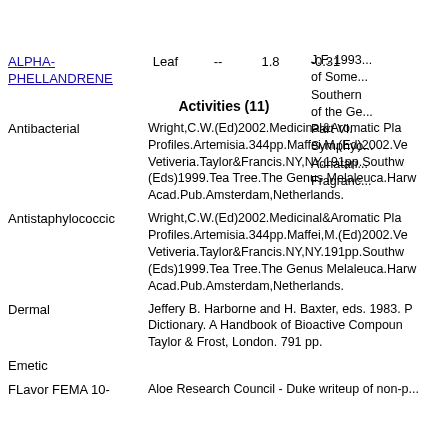J.F. 199... of Some Southern... of the Ge... Part VI. Symphyo... Adnatari... Fragranc...
ALPHA-PHELLANDRENE  Leaf  --  1.8  -0.31
Activities (11)
Antibacterial: Wright,C.W.(Ed)2002.Medicinal&Aromatic Pla...Profiles.Artemisia.344pp.Maffei,M.(Ed)2002.Ve...Vetiveria.Taylor&Francis.NY,NY.191pp.Southw...(Eds)1999.Tea Tree.The Genus Melaleuca.Harw...Acad.Pub.Amsterdam,Netherlands.
Antistaphylococcic: Wright,C.W.(Ed)2002.Medicinal&Aromatic Pla...Profiles.Artemisia.344pp.Maffei,M.(Ed)2002.Ve...Vetiveria.Taylor&Francis.NY,NY.191pp.Southw...(Eds)1999.Tea Tree.The Genus Melaleuca.Harw...Acad.Pub.Amsterdam,Netherlands.
Dermal: Jeffery B. Harborne and H. Baxter, eds. 1983. P...Dictionary. A Handbook of Bioactive Compoun...Taylor & Frost, London. 791 pp.
Emetic
FLavor FEMA 10-  Aloe Research Council - Duke writeup of non-p...